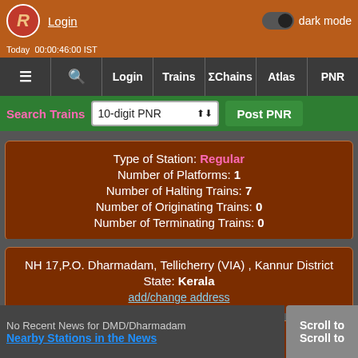Login | dark mode | ≡ 🔍 Login Trains ΣChains Atlas PNR
Search Trains | 10-digit PNR | Post PNR
Type of Station: Regular
Number of Platforms: 1
Number of Halting Trains: 7
Number of Originating Trains: 0
Number of Terminating Trains: 0
NH 17,P.O. Dharmadam, Tellicherry (VIA) , Kannur District
State: Kerala
add/change address
Elevation: 16 m above sea level
Zone: SR/Southern
Division: Palakkad (Palghat)
No Recent News for DMD/Dharmadam
Nearby Stations in the News
Scroll to
Scroll to